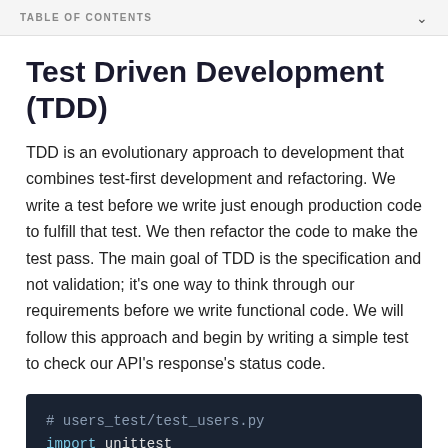TABLE OF CONTENTS
Test Driven Development (TDD)
TDD is an evolutionary approach to development that combines test-first development and refactoring. We write a test before we write just enough production code to fulfill that test. We then refactor the code to make the test pass. The main goal of TDD is the specification and not validation; it's one way to think through our requirements before we write functional code. We will follow this approach and begin by writing a simple test to check our API's response's status code.
[Figure (screenshot): Dark-themed code block showing Python file comment '# users_test/test_users.py' and 'import unittest' on a dark navy background]